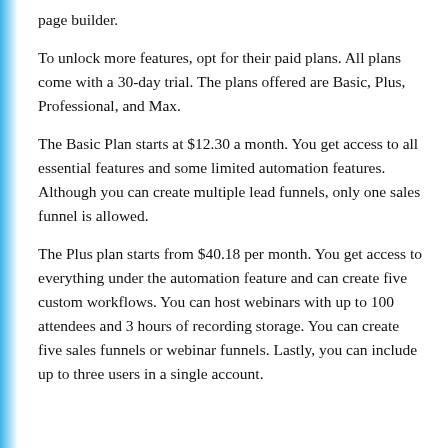page builder.
To unlock more features, opt for their paid plans. All plans come with a 30-day trial. The plans offered are Basic, Plus, Professional, and Max.
The Basic Plan starts at $12.30 a month. You get access to all essential features and some limited automation features. Although you can create multiple lead funnels, only one sales funnel is allowed.
The Plus plan starts from $40.18 per month. You get access to everything under the automation feature and can create five custom workflows. You can host webinars with up to 100 attendees and 3 hours of recording storage. You can create five sales funnels or webinar funnels. Lastly, you can include up to three users in a single account.